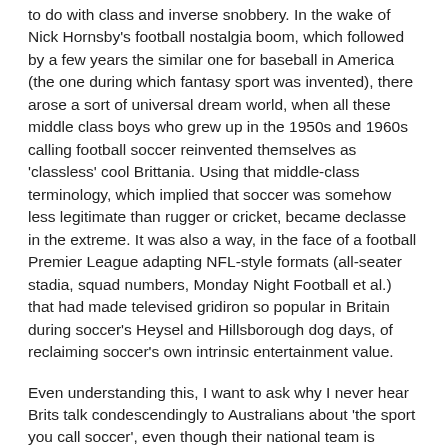to do with class and inverse snobbery. In the wake of Nick Hornsby's football nostalgia boom, which followed by a few years the similar one for baseball in America (the one during which fantasy sport was invented), there arose a sort of universal dream world, when all these middle class boys who grew up in the 1950s and 1960s calling football soccer reinvented themselves as 'classless' cool Brittania. Using that middle-class terminology, which implied that soccer was somehow less legitimate than rugger or cricket, became declasse in the extreme. It was also a way, in the face of a football Premier League adapting NFL-style formats (all-seater stadia, squad numbers, Monday Night Football et al.) that had made televised gridiron so popular in Britain during soccer's Heysel and Hillsborough dog days, of reclaiming soccer's own intrinsic entertainment value.
Even understanding this, I want to ask why I never hear Brits talk condescendingly to Australians about 'the sport you call soccer', even though their national team is actually called 'The Socceroos' and has never outperformed the US. And I'm still waiting for the first English reporter to ask Fabio Capello about 'the sport you Italians call 'kick'.